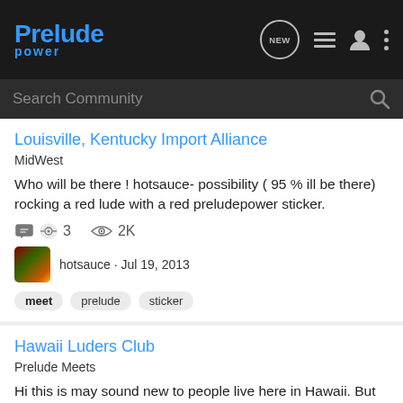Prelude Power - navigation bar with search
Louisville, Kentucky Import Alliance
MidWest
Who will be there ! hotsauce- possibility ( 95 % ill be there) rocking a red lude with a red preludepower sticker.
3 comments · 2K views · hotsauce · Jul 19, 2013
meet · prelude · sticker
Hawaii Luders Club
Prelude Meets
Hi this is may sound new to people live here in Hawaii. But since the old HPOC gone there is no/way for Prelude owner/driver to gather or have a group cruise and meet. So